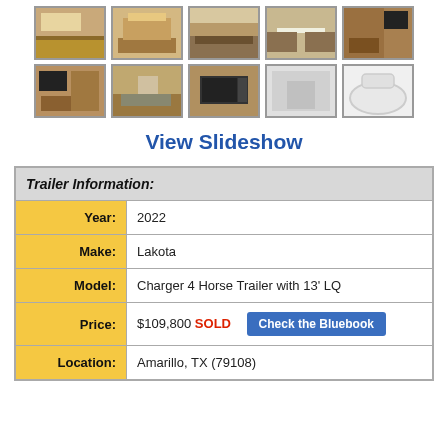[Figure (photo): Grid of 10 thumbnail photos showing interior of a horse trailer with living quarters — kitchen, seating, dining area, storage, bathroom]
View Slideshow
| Field | Value |
| --- | --- |
| Trailer Information: |  |
| Year: | 2022 |
| Make: | Lakota |
| Model: | Charger 4 Horse Trailer with 13' LQ |
| Price: | $109,800 SOLD  Check the Bluebook |
| Location: | Amarillo, TX (79108) |